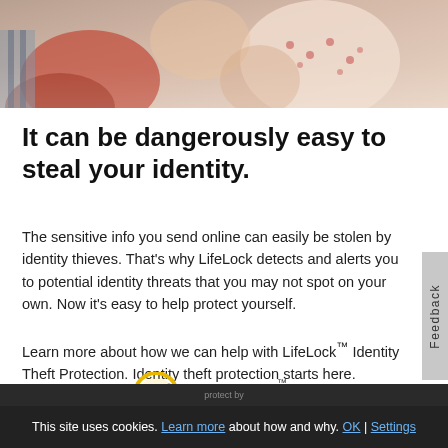[Figure (photo): Top banner photo strip showing people, blurred/cropped, warm tones with red and beige clothing visible]
It can be dangerously easy to steal your identity.
The sensitive info you send online can easily be stolen by identity thieves. That's why LifeLock detects and alerts you to potential identity threats that you may not spot on your own. Now it's easy to help protect yourself.
Learn more about how we can help with LifeLock™ Identity Theft Protection. Identity theft protection starts here.
[Figure (logo): LifeLock logo with yellow/gold checkmark circle icon and bold LifeLock wordmark with trademark symbol]
This site uses cookies. Learn more about how and why. OK | Settings